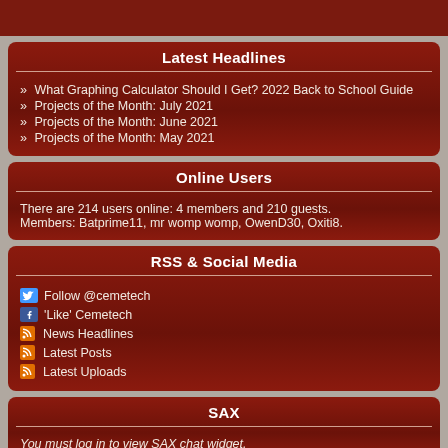Latest Headlines
What Graphing Calculator Should I Get? 2022 Back to School Guide
Projects of the Month: July 2021
Projects of the Month: June 2021
Projects of the Month: May 2021
Online Users
There are 214 users online: 4 members and 210 guests. Members: Batprime11, mr womp womp, OwenD30, Oxiti8.
RSS & Social Media
Follow @cemetech
'Like' Cemetech
News Headlines
Latest Posts
Latest Uploads
SAX
You must log in to view SAX chat widget.
Advertisement